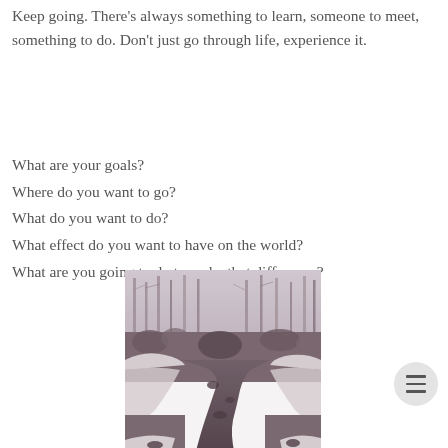Keep going. There's always something to learn, someone to meet, something to do. Don't just go through life, experience it.
What are your goals?
Where do you want to go?
What do you want to do?
What effect do you want to have on the world?
What are you going to do to make that difference?
[Figure (photo): A winter landscape photograph showing a rocky creek or stream winding through bare trees, with snow on the banks and surrounding ground. The image has a muted, desaturated color palette with purplish-grey tones.]